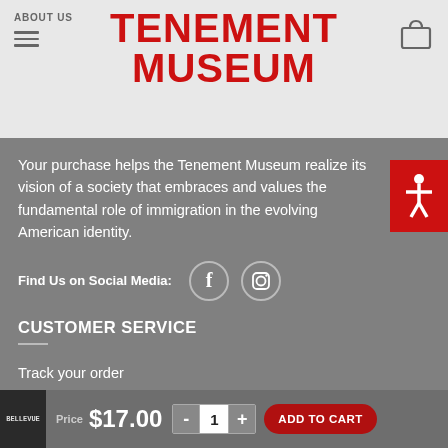ABOUT US | TENEMENT MUSEUM
Your purchase helps the Tenement Museum realize its vision of a society that embraces and values the fundamental role of immigration in the evolving American identity.
Find Us on Social Media:
CUSTOMER SERVICE
Track your order
Shipping
Returns & Exchange
$17.00  -  1  +  ADD TO CART